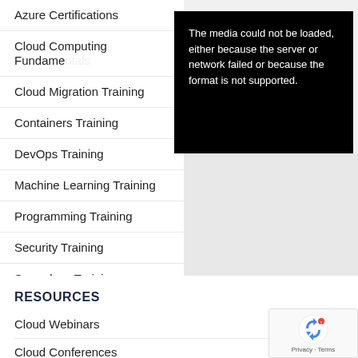Azure Certifications
Cloud Computing Fundamentals
Cloud Migration Training
Containers Training
DevOps Training
Machine Learning Training
Programming Training
Security Training
Serverless Training
Upcoming Training
[Figure (screenshot): Black video player overlay showing error message: The media could not be loaded, either because the server or network failed or because the format is not supported.]
RESOURCES
Cloud Webinars
Cloud Conferences
[Figure (logo): reCAPTCHA widget with recycling arrows icon and Privacy · Terms text]